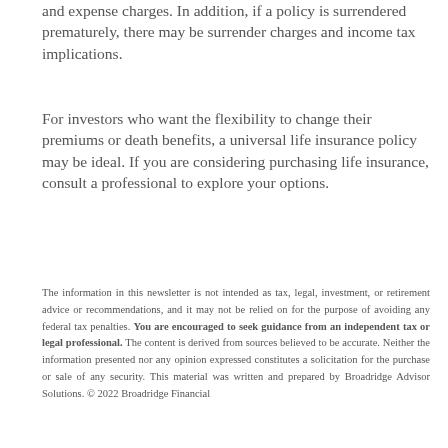and expense charges. In addition, if a policy is surrendered prematurely, there may be surrender charges and income tax implications.
For investors who want the flexibility to change their premiums or death benefits, a universal life insurance policy may be ideal. If you are considering purchasing life insurance, consult a professional to explore your options.
The information in this newsletter is not intended as tax, legal, investment, or retirement advice or recommendations, and it may not be relied on for the purpose of avoiding any federal tax penalties. You are encouraged to seek guidance from an independent tax or legal professional. The content is derived from sources believed to be accurate. Neither the information presented nor any opinion expressed constitutes a solicitation for the purchase or sale of any security. This material was written and prepared by Broadridge Advisor Solutions. © 2022 Broadridge Financial